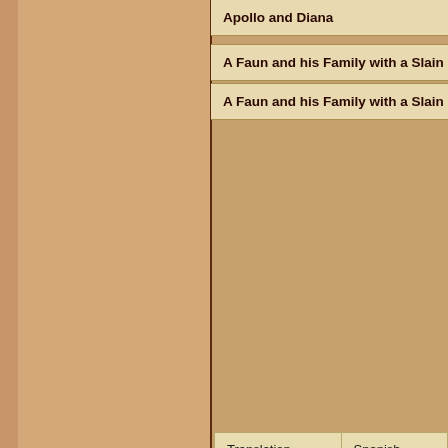Apollo and Diana
A Faun and his Family with a Slain
A Faun and his Family with a Slain
| Translation | Spanish |
| --- | --- |
| painter | pintor |
| painting | pintura |
| paintings | pinturas |
| biography | biograf◆ |
| gallery | galer◆a |
Copyri